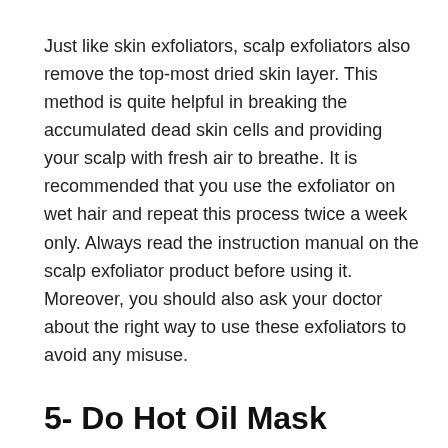Just like skin exfoliators, scalp exfoliators also remove the top-most dried skin layer. This method is quite helpful in breaking the accumulated dead skin cells and providing your scalp with fresh air to breathe. It is recommended that you use the exfoliator on wet hair and repeat this process twice a week only. Always read the instruction manual on the scalp exfoliator product before using it. Moreover, you should also ask your doctor about the right way to use these exfoliators to avoid any misuse.
5- Do Hot Oil Mask
Hot oil treatments are one of the most effective methods to eliminate dandruff. They nourish the scalp and give it back some moisture. Moreover, oils can attract excess oils from your scalp and aid in reducing excess sebum production. Coconut oil is the best and most effective oil for this